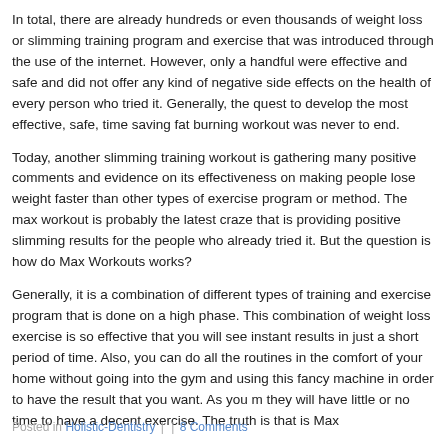In total, there are already hundreds or even thousands of weight loss or slimming training program and exercise that was introduced through the use of the internet. However, only a handful were effective and safe and did not offer any kind of negative side effects on the health of every person who tried it. Generally, the quest to develop the most effective, safe, time saving fat burning workout was never to end.
Today, another slimming training workout is gathering many positive comments and evidence on its effectiveness on making people lose weight faster than other types of exercise program or method. The max workout is probably the latest craze that is providing positive slimming results for the people who already tried it. But the question is how do Max Workouts works?
Generally, it is a combination of different types of training and exercise programs that is done on a high phase. This combination of weight loss exercise is so effective that you will see instant results in just a short period of time. Also, you can do all the routines in the comfort of your home without going into the gym and using this fancy machine in order to have the result that you want. As you m they will have little or no time to have a decent exercise. The truth is that is Max
For busy people with almost no time to make their body fit and healthy, the Max
This type of slimming, fat burning and strengthening exercise program will simp your body's muscle and create a leaner and body in just a few weeks after trying
This is definitely one fat burning routine that will take less time to do but can pro gym equipment. All you have to do is to follow every step and video that max wo downloadable E-book that is full of basic slimming information that will help you
Posted in Holistic-Dentistry | | 8 Comments